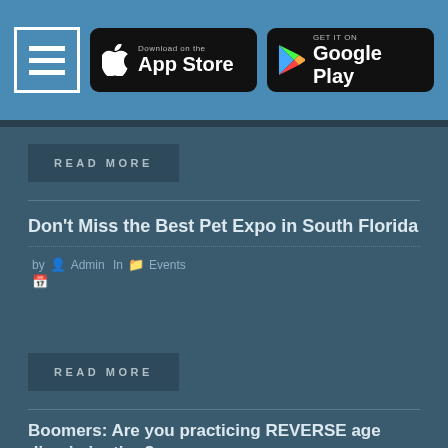Navigation menu | Download on the App Store | GET IT ON Google Play
[Figure (screenshot): READ MORE button]
Don't Miss the Best Pet Expo in South Florida
by Admin in Events
[Figure (screenshot): READ MORE button]
Boomers: Are you practicing REVERSE age discrimination?